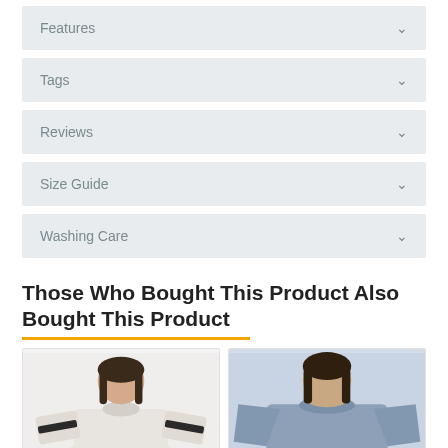Features
Tags
Reviews
Size Guide
Washing Care
Those Who Bought This Product Also Bought This Product
[Figure (photo): Two product photos side by side showing women's tops: left shows a woman in a white/cream top with dark embroidery on sleeves, right shows a woman in a blue/grey loose top]